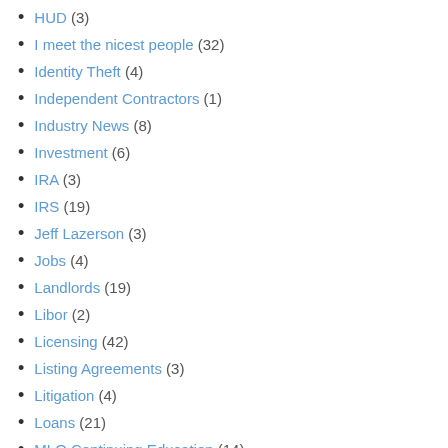HUD (3)
I meet the nicest people (32)
Identity Theft (4)
Independent Contractors (1)
Industry News (8)
Investment (6)
IRA (3)
IRS (19)
Jeff Lazerson (3)
Jobs (4)
Landlords (19)
Libor (2)
Licensing (42)
Listing Agreements (3)
Litigation (4)
Loans (21)
MLO Continuing Education (14)
Mold (1)
Mortgage Loan Origination (69)
Movies (18)
Myths (2)